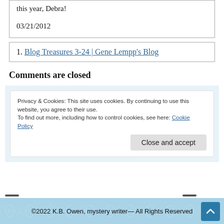this year, Debra!
03/21/2012
1. Blog Treasures 3-24 | Gene Lempp's Blog
Comments are closed
Privacy & Cookies: This site uses cookies. By continuing to use this website, you agree to their use.
To find out more, including how to control cookies, see here: Cookie Policy
Close and accept
©2022 K.B. Owen, mystery writer— All Rights Reserved